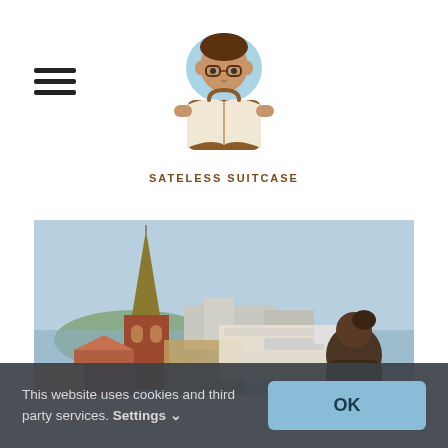[Figure (logo): Sateless Suitcase logo: illustrated person reading a book/map, brown and blue tones, with text SATELESS SUITCASE below]
[Figure (photo): Cityscape photo showing a tall church spire and rooftops, person viewed from behind on the right, blue sky, harbor in background]
This website uses cookies and third party services. Settings
OK